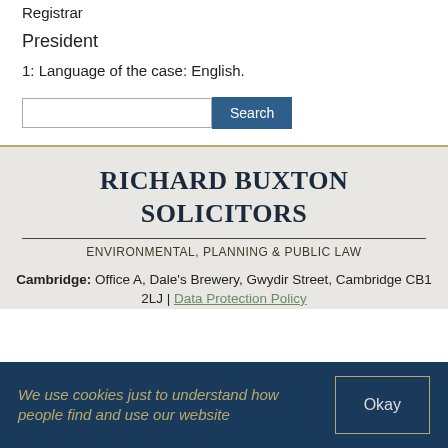Registrar
President
1: Language of the case: English.
RICHARD BUXTON SOLICITORS
ENVIRONMENTAL, PLANNING & PUBLIC LAW
Cambridge: Office A, Dale's Brewery, Gwydir Street, Cambridge CB1 2LJ | Data Protection Policy
We use cookies just to understand how people find and use our website